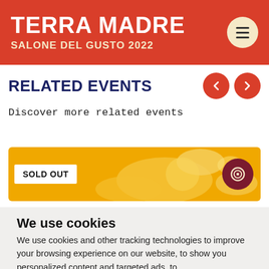TERRA MADRE SALONE DEL GUSTO 2022
RELATED EVENTS
Discover more related events
[Figure (illustration): Event card banner with yellow/orange background, decorative blobs, SOLD OUT badge, and a dark red snail logo button on the right]
We use cookies
We use cookies and other tracking technologies to improve your browsing experience on our website, to show you personalized content and targeted ads, to